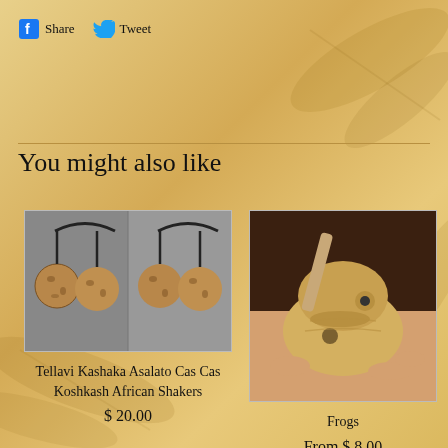Share   Tweet
You might also like
[Figure (photo): Two Tellavi Kashaka Asalato Cas Cas Koshkash African Shakers on a grey background]
Tellavi Kashaka Asalato Cas Cas Koshkash African Shakers
$ 20.00
[Figure (photo): A hand holding a carved wooden frog instrument]
Frogs
From $ 8.00